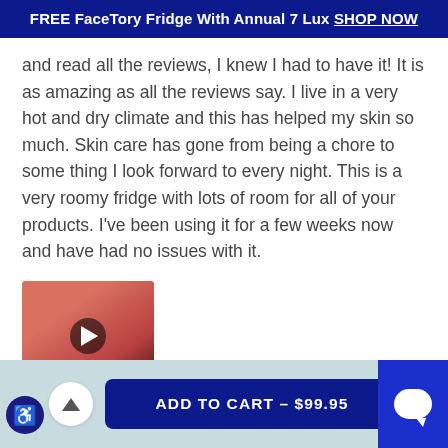FREE FaceTory Fridge With Annual 7 Lux SHOP NOW
and read all the reviews, I knew I had to have it! It is as amazing as all the reviews say. I live in a very hot and dry climate and this has helped my skin so much. Skin care has gone from being a chore to some thing I look forward to every night. This is a very roomy fridge with lots of room for all of your products. I've been using it for a few weeks now and have had no issues with it.
[Figure (photo): Thumbnail of a pink skincare fridge with a video play button overlay]
Was this helpfu...
Need help?
ADD TO CART – $99.95